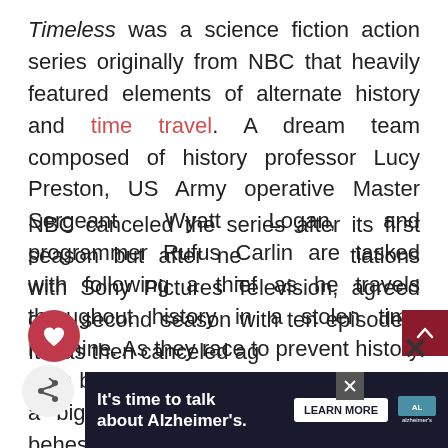Timeless was a science fiction action series originally from NBC that heavily featured elements of alternate history and time travel. A dream team composed of history professor Lucy Preston, US Army operative Master Sergeant Wyatt Logan, and programmer Rufus Carlin are tasked with following a thief as he travels throughout history in a stolen time machine. As they race to prevent history from being rewritten, they soon uncover a bigger plan being hatched at the behest of a mysterious organization called Rittenhouse.
NBC canceled the series after its first season but after negotiations with Sony Pictures Television, agreed on a second season with ten episodes. It was then canceled again...
[Figure (screenshot): Advertisement banner: 'It's time to talk about Alzheimer's.' with a Learn More button and the Alzheimer's Association logo]